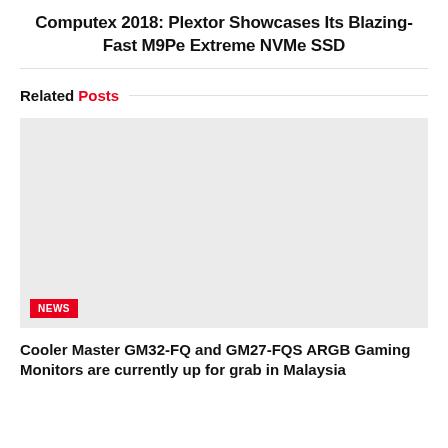Computex 2018: Plextor Showcases Its Blazing-Fast M9Pe Extreme NVMe SSD
Related Posts
[Figure (photo): Placeholder image for a related post card with a NEWS badge in the bottom-left corner]
Cooler Master GM32-FQ and GM27-FQS ARGB Gaming Monitors are currently up for grab in Malaysia